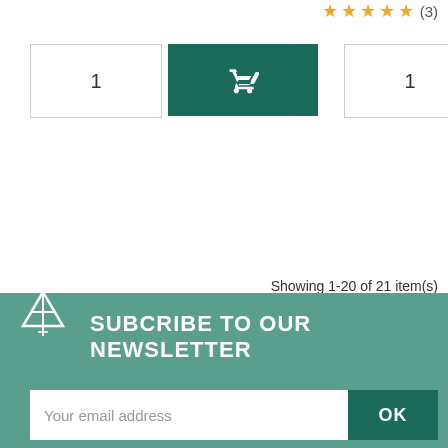[Figure (other): Five gold star rating with (3) review count]
[Figure (other): Quantity input box showing 1 and a teal add-to-cart button with shopping cart icon, repeated twice side by side]
Showing 1-20 of 21 item(s)
[Figure (other): Pagination controls: page 1 (active/selected), page 2, and next arrow button]
The herbalist offers a range of aromatherapy adapted to infants and children. Our herbalist has selected synergies based on essentialoils that respond to sleep disorders, skin erythema and insect bites from birth.
[Figure (logo): Herbalist logo — triangle/mountain shape with stylized letter A]
SUBCRIBE TO OUR NEWSLETTER
Your email address
OK